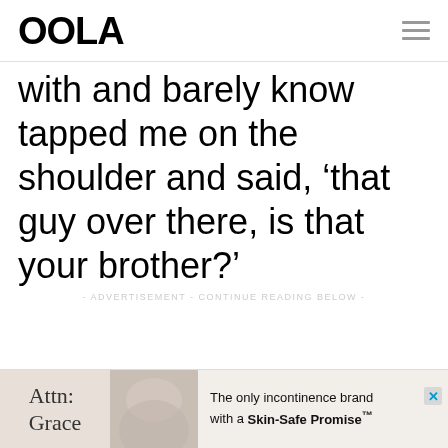OOLA
with and barely know tapped me on the shoulder and said, ‘that guy over there, is that your brother?’
- ADVERTISEMENT - CONTINUE READING BELOW -
[Figure (infographic): Advertisement banner: Attn: Grace incontinence brand ad with text 'The only incontinence brand with a Skin-Safe Promise™' and yellow highlight, accompanied by image of hands]